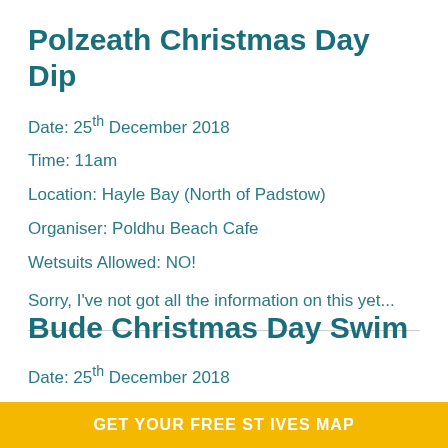Polzeath Christmas Day Dip
Date: 25th December 2018
Time: 11am
Location: Hayle Bay (North of Padstow)
Organiser: Poldhu Beach Cafe
Wetsuits Allowed: NO!
Sorry, I've not got all the information on this yet...
Bude Christmas Day Swim
Date: 25th December 2018
Time: 11am
GET YOUR FREE ST IVES MAP